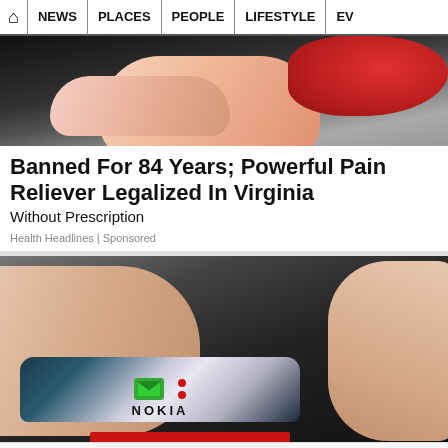🏠 | NEWS | PLACES | PEOPLE | LIFESTYLE | EV
[Figure (photo): Close-up photo of a hand holding a red strawberry against a dark background]
Banned For 84 Years; Powerful Pain Reliever Legalized In Virginia
Without Prescription
Health Headlines | Sponsored
[Figure (photo): Close-up photo of a finger pressing buttons on a Nokia mobile phone with green envelope and red phone icons visible, red bar at bottom]
[Figure (logo): Bottom logo bar with TT, my, edu, and HORSE RACING logos]